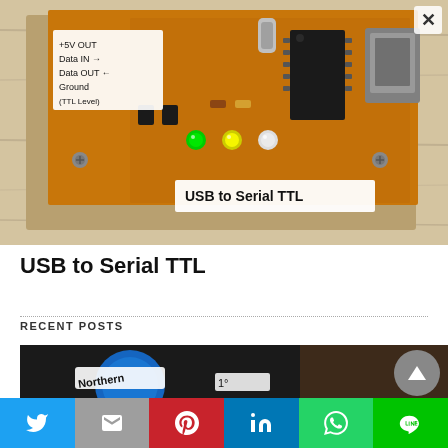[Figure (photo): Photo of a USB to Serial TTL converter board on a wooden surface. The PCB is orange/brown with components including an IC chip, LEDs (green, yellow, white), and a USB connector. A white label on the left reads '+5V OUT, Data IN→, Data OUT←, Ground, (TTL Level)'. A white label at the bottom reads 'USB to Serial TTL'.]
USB to Serial TTL
RECENT POSTS
[Figure (photo): Partial photo of a device with a blue circular element and a label reading 'Northern...' and '...1°']